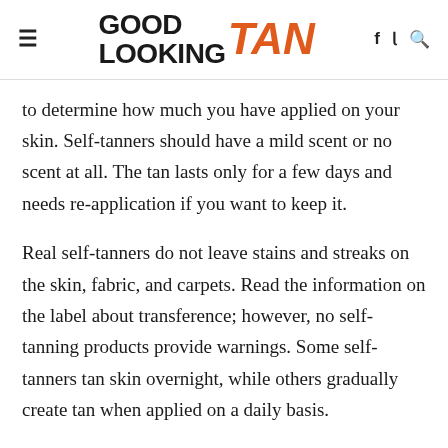GOOD LOOKING TAN
to determine how much you have applied on your skin. Self-tanners should have a mild scent or no scent at all. The tan lasts only for a few days and needs re-application if you want to keep it.
Real self-tanners do not leave stains and streaks on the skin, fabric, and carpets. Read the information on the label about transference; however, no self-tanning products provide warnings. Some self-tanners tan skin overnight, while others gradually create tan when applied on a daily basis.